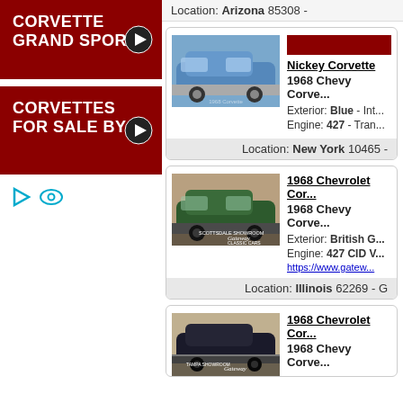Location: Arizona 85308 -
CORVETTE GRAND SPORT
CORVETTES FOR SALE BY
[Figure (photo): Blue 1968 Chevy Corvette convertible parked outside]
Nickey Corvette
1968 Chevy Corve...
Exterior: Blue - Int... Engine: 427 - Tran...
Location: New York 10465 -
1968 Chevrolet Cor...
1968 Chevy Corve...
[Figure (photo): Green 1968 Chevrolet Corvette convertible at Gateway Classic Cars Scottsdale Showroom]
Exterior: British G... Engine: 427 CID V...
https://www.gatew...
Location: Illinois 62269 - G
1968 Chevrolet Cor...
1968 Chevy Corve...
[Figure (photo): Dark 1968 Chevrolet Corvette at Gateway Classic Cars Tampa Showroom]